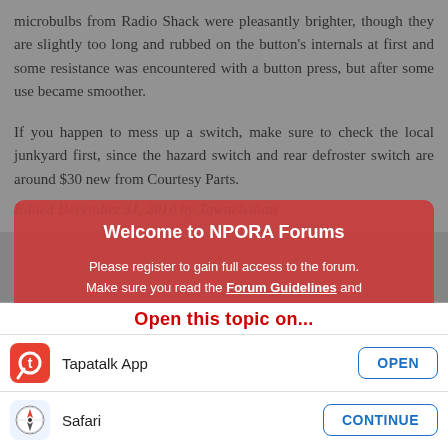microbulbs from Radio Shack were pleasantly brighter, though they are slightly too long and rubbed on the button's internals at first and some resistance was encountered with a button press, but after some use became smoother.
If you happen to mess up a switch, make sure to check the local junkyard first, since the hazard switch and rear defroster switch are around $30 new from Courtesy Parts.
Edited December 31, 2010 by Towncivilian
[Figure (screenshot): Welcome to NPORA Forums modal overlay on a forum page. Modal contains: title 'Welcome to NPORA Forums', text 'Please register to gain full access to the forum. Make sure you read the Forum Guidelines and don't forget to post a new intro in the New People Start Here! section, to say hi too everyone.' signed '-NPORA'. Behind modal is a forum post by user 'piste' posted January 4, 2011.]
Welcome to NPORA Forums
Please register to gain full access to the forum. Make sure you read the Forum Guidelines and don't forget to post a new intro in the New People Start Here! section, to say hi too everyone.
-NPORA
Open this topic on...
Tapatalk App
Safari